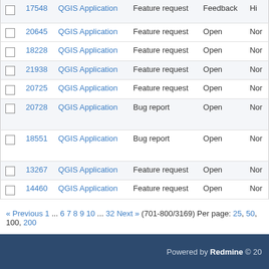|  | # | Project | Tracker | Status | Priority |
| --- | --- | --- | --- | --- | --- |
|  | 17548 | QGIS Application | Feature request | Feedback | Hi |
|  | 20645 | QGIS Application | Feature request | Open | Nor |
|  | 18228 | QGIS Application | Feature request | Open | Nor |
|  | 21938 | QGIS Application | Feature request | Open | Nor |
|  | 20725 | QGIS Application | Feature request | Open | Nor |
|  | 20728 | QGIS Application | Bug report | Open | Nor |
|  | 18551 | QGIS Application | Bug report | Open | Nor |
|  | 13267 | QGIS Application | Feature request | Open | Nor |
|  | 14460 | QGIS Application | Feature request | Open | Nor |
« Previous 1 ... 6 7 8 9 10 ... 32 Next » (701-800/3169) Per page: 25, 50, 100, 200
Powered by Redmine © 20